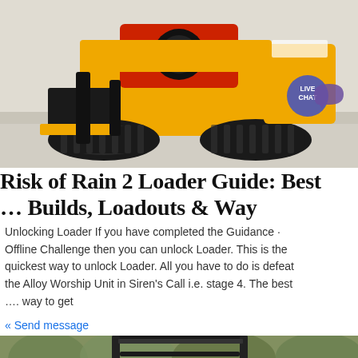[Figure (photo): Yellow and black compact track loader / mini skid steer machine on a light concrete surface, viewed from the front-right angle. A 'LIVE CHAT' purple badge is overlaid in the top-right area of the image.]
Risk of Rain 2 Loader Guide: Best … Builds, Loadouts & Way
Unlocking Loader If you have completed the Guidance · Offline Challenge then you can unlock Loader. This is the quickest way to unlock Loader. All you have to do is defeat the Alloy Worship Unit in Siren's Call i.e. stage 4. The best …. way to get
« Send message
[Figure (photo): Bottom partial image showing a vehicle canopy/roof structure (dark colored ROPS/cab enclosure) against a green treeline background.]